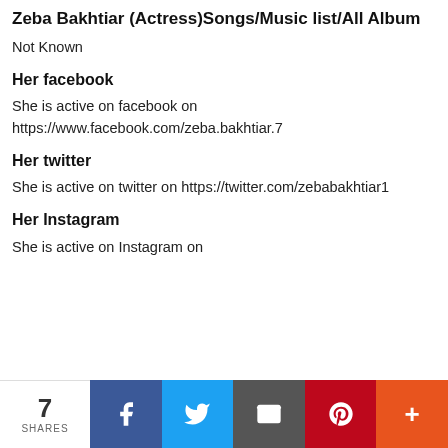Zeba Bakhtiar (Actress)Songs/Music list/All Album
Not Known
Her facebook
She is active on facebook on https://www.facebook.com/zeba.bakhtiar.7
Her twitter
She is active on twitter on https://twitter.com/zebabakhtiar1
Her Instagram
She is active on Instagram on
7 SHARES | Facebook | Twitter | Email | Pinterest | More